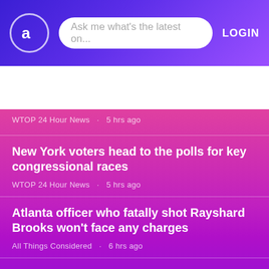Ask me what's the latest on... | LOGIN
Charlie and Dr. Rashad Richey Debate the Threat of th
WTOP 24 Hour News  5 hrs ago
New York voters head to the polls for key congressional races
WTOP 24 Hour News  5 hrs ago
Atlanta officer who fatally shot Rayshard Brooks won't face any charges
All Things Considered  6 hrs ago
What to watch for in New York's Congressional primaries